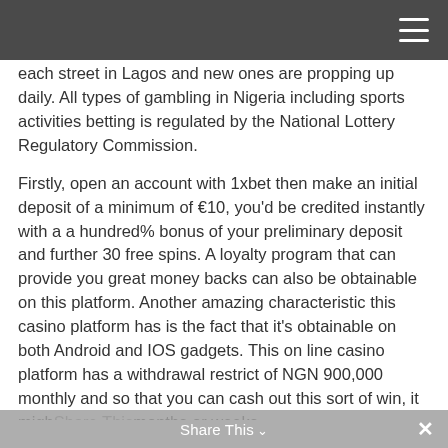each street in Lagos and new ones are propping up daily. All types of gambling in Nigeria including sports activities betting is regulated by the National Lottery Regulatory Commission.
Firstly, open an account with 1xbet then make an initial deposit of a minimum of €10, you'd be credited instantly with a a hundred% bonus of your preliminary deposit and further 30 free spins. A loyalty program that can provide you great money backs can also be obtainable on this platform. Another amazing characteristic this casino platform has is the fact that it's obtainable on both Android and IOS gadgets. This on line casino platform has a withdrawal restrict of NGN 900,000 monthly and so that you can cash out this sort of win, it migh... months or weeks.
Share This